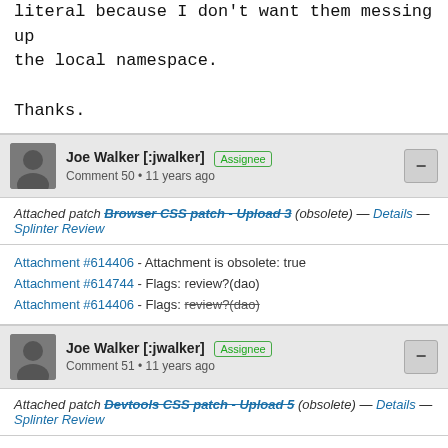removed the grouped, but left it in the object literal because I don't want them messing up the local namespace.

Thanks.
Joe Walker [:jwalker] Assignee
Comment 50 • 11 years ago
Attached patch Browser CSS patch - Upload 3 (obsolete) — Details — Splinter Review
Attachment #614406 - Attachment is obsolete: true
Attachment #614744 - Flags: review?(dao)
Attachment #614406 - Flags: review?(dao)
Joe Walker [:jwalker] Assignee
Comment 51 • 11 years ago
Attached patch Devtools CSS patch - Upload 5 (obsolete) — Details — Splinter Review
Attachment #614407 - Attachment is obsolete: true